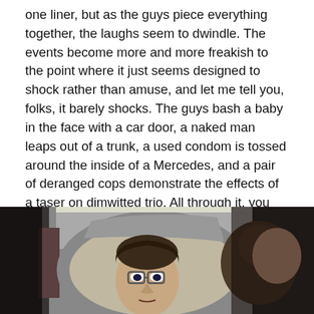one liner, but as the guys piece everything together, the laughs seem to dwindle. The events become more and more freakish to the point where it just seems designed to shock rather than amuse, and let me tell you, folks, it barely shocks. The guys bash a baby in the face with a car door, a naked man leaps out of a trunk, a used condom is tossed around the inside of a Mercedes, and a pair of deranged cops demonstrate the effects of a taser on dimwitted trio. All through it, you never once find yourself rooting for these guys to have a stroke of luck and find a lead on their pal, which is frustrating because you want to root for them.
[Figure (photo): A man with glasses looking up with a surprised or distressed expression, seen through what appears to be a circular window or mirror, with another person partially visible on the right, dark background.]